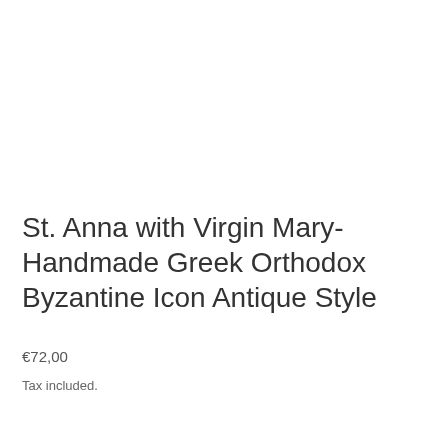St. Anna with Virgin Mary-Handmade Greek Orthodox Byzantine Icon Antique Style
€72,00
Tax included.